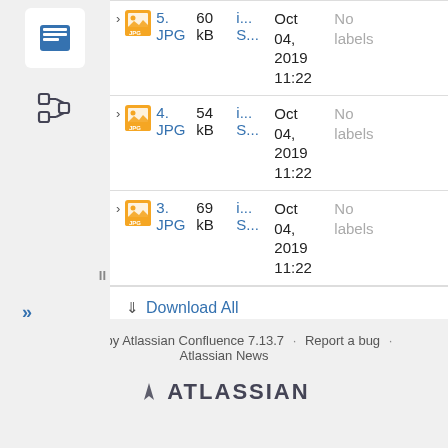|  | Name | Size | User | Date | Labels |
| --- | --- | --- | --- | --- | --- |
| > | 5. JPG | 60 kB | i... S... | Oct 04, 2019 11:22 | No labels |
| > | 4. JPG | 54 kB | i... S... | Oct 04, 2019 11:22 | No labels |
| > | 3. JPG | 69 kB | i... S... | Oct 04, 2019 11:22 | No labels |
Download All
Powered by Atlassian Confluence 7.13.7 · Report a bug · Atlassian News